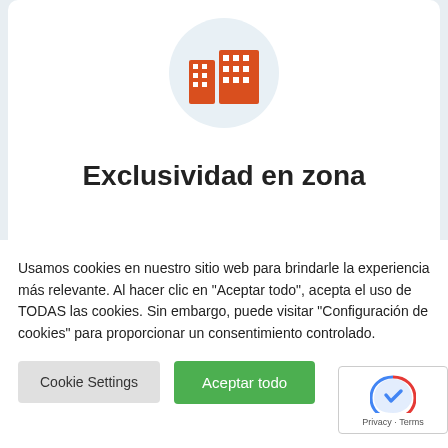[Figure (illustration): Orange building/city icon on a light blue-grey circular background]
Exclusividad en zona
Usamos cookies en nuestro sitio web para brindarle la experiencia más relevante. Al hacer clic en "Aceptar todo", acepta el uso de TODAS las cookies. Sin embargo, puede visitar "Configuración de cookies" para proporcionar un consentimiento controlado.
Cookie Settings | Aceptar todo